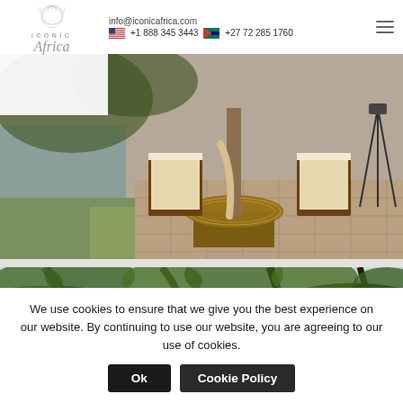info@iconicafrica.com  +1 888 345 3443  +27 72 285 1760
[Figure (photo): Outdoor safari lodge terrace with wooden chairs, wicker table, stone tile floor, and lush green garden with pool in background]
[Figure (photo): Looking up through dense tree canopy with green leaves against bright sky]
We use cookies to ensure that we give you the best experience on our website. By continuing to use our website, you are agreeing to our use of cookies.
Ok   Cookie Policy